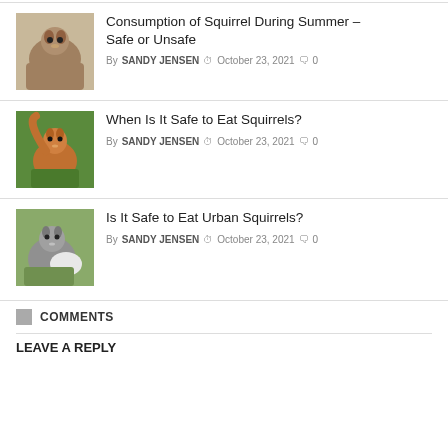[Figure (photo): Photo of a gray squirrel close-up against a blurred background]
Consumption of Squirrel During Summer – Safe or Unsafe
By SANDY JENSEN  October 23, 2021  0
[Figure (photo): Photo of a red squirrel on a mossy surface holding something]
When Is It Safe to Eat Squirrels?
By SANDY JENSEN  October 23, 2021  0
[Figure (photo): Photo of a gray squirrel on the ground]
Is It Safe to Eat Urban Squirrels?
By SANDY JENSEN  October 23, 2021  0
COMMENTS
LEAVE A REPLY